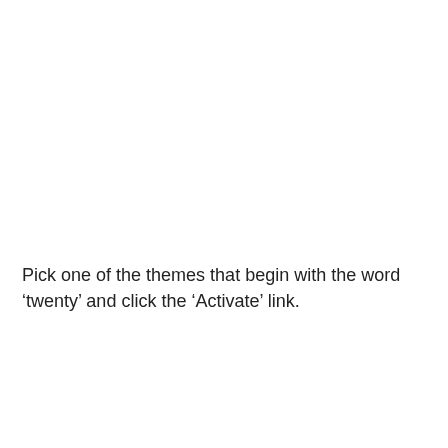Pick one of the themes that begin with the word ‘twenty’ and click the ‘Activate’ link.